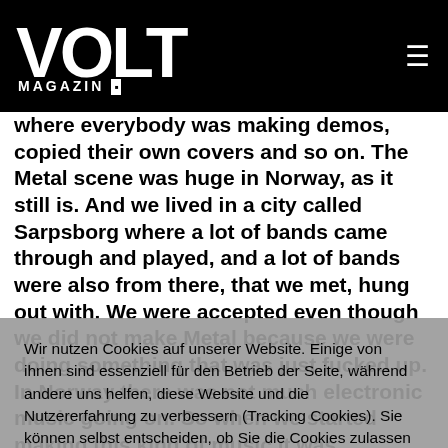VOLT MAGAZIN
where everybody was making demos, copied their own covers and so on. The Metal scene was huge in Norway, as it still is. And we lived in a city called Sarpsborg where a lot of bands came through and played, and a lot of bands were also from there, that we met, hung out with. We were accepted even though we did not make Metal because we were doing something that was just fucked up.
In Norway there was not much electronic music going on. So when we started making this kind of music it was
Wir nutzen Cookies auf unserer Website. Einige von ihnen sind essenziell für den Betrieb der Seite, während andere uns helfen, diese Website und die Nutzererfahrung zu verbessern (Tracking Cookies). Sie können selbst entscheiden, ob Sie die Cookies zulassen möchten. Bitte beachten Sie, dass bei einer Ablehnung womöglich nicht mehr alle Funktionalitäten der Seite zur Verfügung stehen.
Akzeptieren | Ablehnen